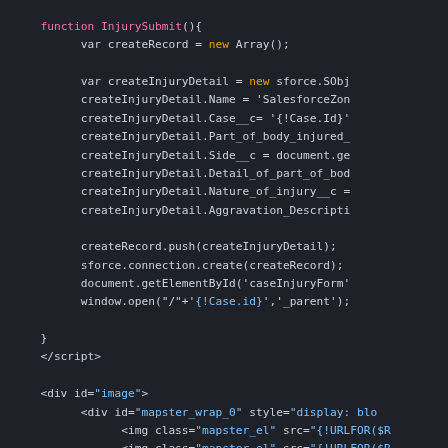Code screenshot showing JavaScript InjurySubmit function and HTML div/img tags with Salesforce Apex syntax